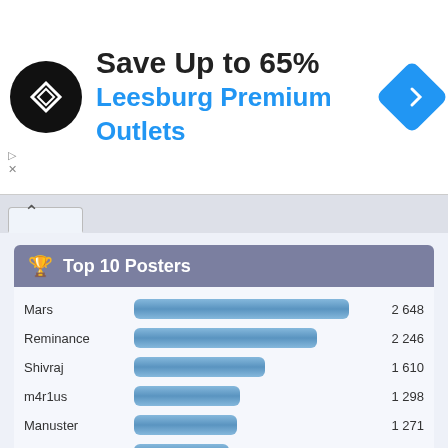[Figure (screenshot): Advertisement banner: Save Up to 65% Leesburg Premium Outlets with logo and navigation icon]
Top 10 Posters
[Figure (bar-chart): Top 10 Posters]
Top 10 Boards